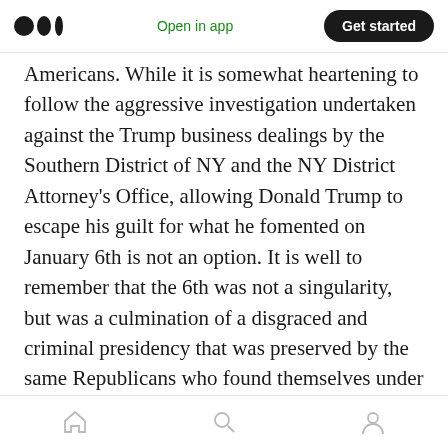Medium logo | Open in app | Get started
Americans. While it is somewhat heartening to follow the aggressive investigation undertaken against the Trump business dealings by the Southern District of NY and the NY District Attorney's Office, allowing Donald Trump to escape his guilt for what he fomented on January 6th is not an option. It is well to remember that the 6th was not a singularity, but was a culmination of a disgraced and criminal presidency that was preserved by the same Republicans who found themselves under attack under the dome of the Capitol- a space they
Home | Search | Profile